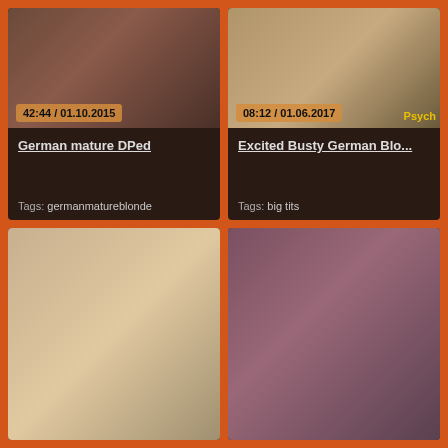[Figure (photo): Video thumbnail 1 - German mature DPed, timestamp 42:44 / 01.10.2015]
German mature DPed
Tags: germanmatureblonde
[Figure (photo): Video thumbnail 2 - Excited Busty German Blo..., timestamp 08:12 / 01.06.2017, Psych watermark]
Excited Busty German Blo...
Tags: big tits
[Figure (photo): Video thumbnail 3 - bottom left card]
[Figure (photo): Video thumbnail 4 - bottom right card]